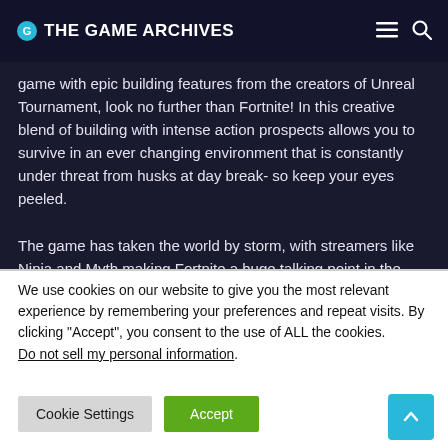THE GAME ARCHIVES
game with epic building features from the creators of Unreal Tournament, look no further than Fortnite! In this creative blend of building with intense action prospects allows you to survive in an ever changing environment that is constantly under threat from husks at day break- so keep your eyes peeled.

The game has taken the world by storm, with streamers like Ninja and Myth making Fortnite a huge talking point in the gaming community. Since launch it's amassed over 40 million users
We use cookies on our website to give you the most relevant experience by remembering your preferences and repeat visits. By clicking “Accept”, you consent to the use of ALL the cookies.
Do not sell my personal information.